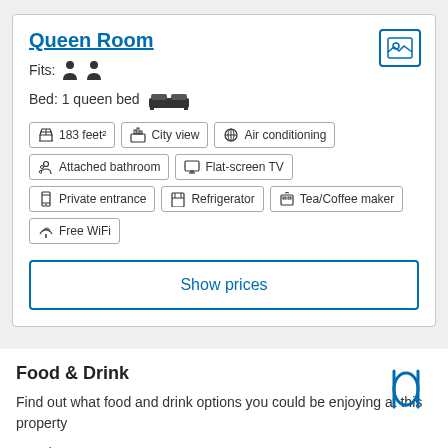Queen Room
Fits: [person icons]
Bed: 1 queen bed [bed icon]
183 feet²
City view
Air conditioning
Attached bathroom
Flat-screen TV
Private entrance
Refrigerator
Tea/Coffee maker
Free WiFi
Show prices
Food & Drink
Find out what food and drink options you could be enjoying at this property
Read more